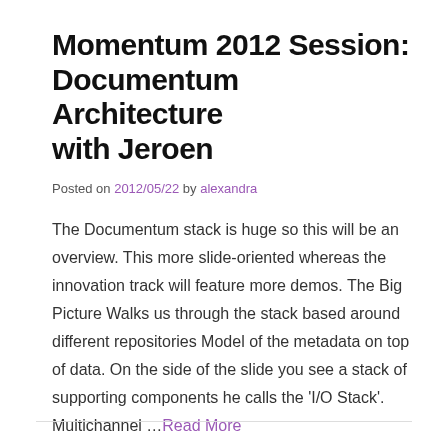Momentum 2012 Session: Documentum Architecture with Jeroen
Posted on 2012/05/22 by alexandra
The Documentum stack is huge so this will be an overview. This more slide-oriented whereas the innovation track will feature more demos. The Big Picture Walks us through the stack based around different repositories Model of the metadata on top of data. On the side of the slide you see a stack of supporting components he calls the 'I/O Stack'. Multichannel …Read More
Posted in Uncategorized 1 Comment